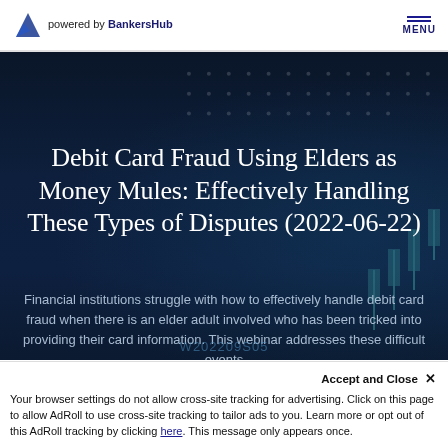powered by BankersHub | MENU
Debit Card Fraud Using Elders as Money Mules: Effectively Handling These Types of Disputes (2022-06-22)
Financial institutions struggle with how to effectively handle debit card fraud when there is an elder adult involved who has been tricked into providing their card information. This webinar addresses these difficult events
W202209S05
Accept and Close ✕
Your browser settings do not allow cross-site tracking for advertising. Click on this page to allow AdRoll to use cross-site tracking to tailor ads to you. Learn more or opt out of this AdRoll tracking by clicking here. This message only appears once.